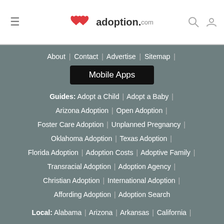adoption.com header with hamburger menu, logo, search and user icons
About | Contact | Advertise | Sitemap |
Mobile Apps
Guides: Adopt a Child | Adopt a Baby | Arizona Adoption | Open Adoption | Foster Care Adoption | Unplanned Pregnancy | Oklahoma Adoption | Texas Adoption | Florida Adoption | Adoption Costs | Adoptive Family | Transracial Adoption | Adoption Agency | Christian Adoption | International Adoption | Affording Adoption | Adoption Search
Local: Alabama | Arizona | Arkansas | California |